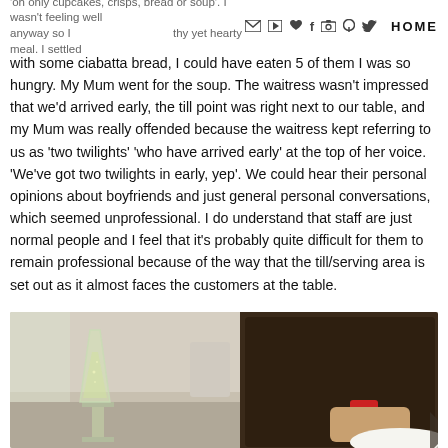'oh only cupcakes, crisps, bread or soup'. I wasn't feeling well anyway so I felt that merited a healthy yet hearty meal. I settled HOME
with some ciabatta bread, I could have eaten 5 of them I was so hungry. My Mum went for the soup. The waitress wasn't impressed that we'd arrived early, the till point was right next to our table, and my Mum was really offended because the waitress kept referring to us as 'two twilights' 'who have arrived early' at the top of her voice. 'We've got two twilights in early, yep'. We could hear their personal opinions about boyfriends and just general personal conversations, which seemed unprofessional. I do understand that staff are just normal people and I feel that it's probably quite difficult for them to remain professional because of the way that the till/serving area is set out as it almost faces the customers at the table.
[Figure (photo): A restaurant table scene showing a champagne flute with a light-colored drink on the left, and a person wearing a dark brown fur coat with a red bracelet on the right, with a white plate partially visible.]